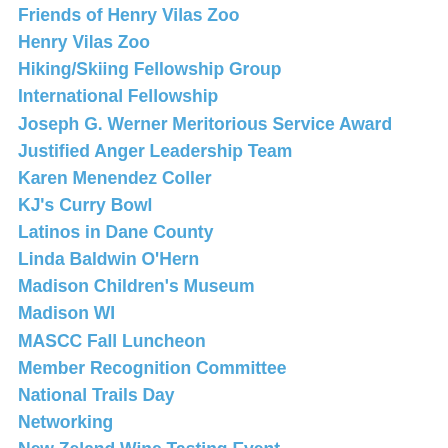Friends of Henry Vilas Zoo
Henry Vilas Zoo
Hiking/Skiing Fellowship Group
International Fellowship
Joseph G. Werner Meritorious Service Award
Justified Anger Leadership Team
Karen Menendez Coller
KJ's Curry Bowl
Latinos in Dane County
Linda Baldwin O'Hern
Madison Children's Museum
Madison WI
MASCC Fall Luncheon
Member Recognition Committee
National Trails Day
Networking
New Zeland Wine Tasting Event
Paul Chryst
Pheasant Branch Conservancy
Racial Equity